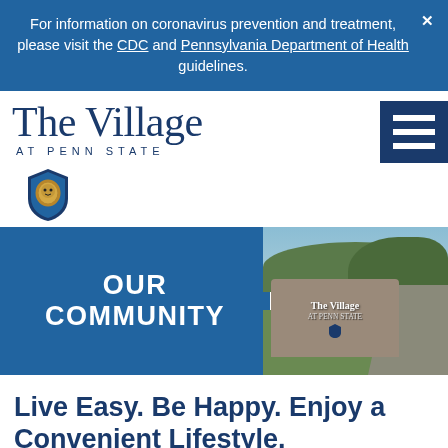For information on coronavirus prevention and treatment, please visit the CDC and Pennsylvania Department of Health guidelines.
[Figure (logo): The Village at Penn State logo with serif wordmark and Penn State lion shield emblem, alongside a hamburger menu icon]
[Figure (photo): Community banner with 'OUR COMMUNITY' text on blue background on the left, and a photo of The Village at Penn State entrance sign with trees and road on the right]
Live Easy. Be Happy. Enjoy a Convenient Lifestyle.
There's So Much to Discover!